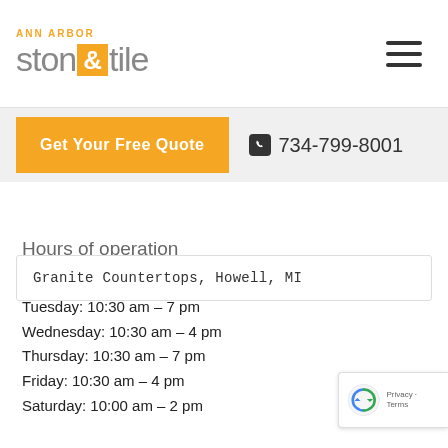[Figure (logo): Ann Arbor Stone & Tile logo with orange ampersand block]
Get Your Free Quote  📞 734-799-8001
Granite Countertops, Howell, MI
Hours of operation
Monday: 10:30 am – 4 pm
Tuesday: 10:30 am – 7 pm
Wednesday: 10:30 am – 4 pm
Thursday: 10:30 am – 7 pm
Friday: 10:30 am – 4 pm
Saturday: 10:00 am – 2 pm